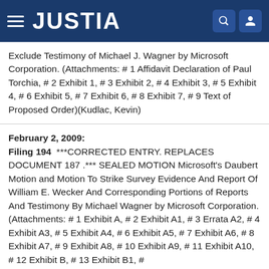JUSTIA
Exclude Testimony of Michael J. Wagner by Microsoft Corporation. (Attachments: # 1 Affidavit Declaration of Paul Torchia, # 2 Exhibit 1, # 3 Exhibit 2, # 4 Exhibit 3, # 5 Exhibit 4, # 6 Exhibit 5, # 7 Exhibit 6, # 8 Exhibit 7, # 9 Text of Proposed Order)(Kudlac, Kevin)
February 2, 2009: Filing 194 ***CORRECTED ENTRY. REPLACES DOCUMENT 187 .*** SEALED MOTION Microsoft's Daubert Motion and Motion To Strike Survey Evidence And Report Of William E. Wecker And Corresponding Portions of Reports And Testimony By Michael Wagner by Microsoft Corporation. (Attachments: # 1 Exhibit A, # 2 Exhibit A1, # 3 Errata A2, # 4 Exhibit A3, # 5 Exhibit A4, # 6 Exhibit A5, # 7 Exhibit A6, # 8 Exhibit A7, # 9 Exhibit A8, # 10 Exhibit A9, # 11 Exhibit A10, # 12 Exhibit B, # 13 Exhibit B1, #